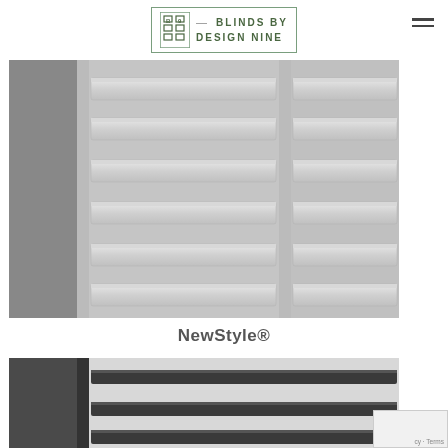[Figure (logo): Blinds by Design Nine logo with green border, grid icon, and text]
[Figure (photo): Close-up photo of white plantation shutters with horizontal louvres, showing two panels with vertical divider rails]
NewStyle®
[Figure (photo): Partial close-up photo of dark/charcoal shutters with horizontal louvres, cropped at the bottom of the page]